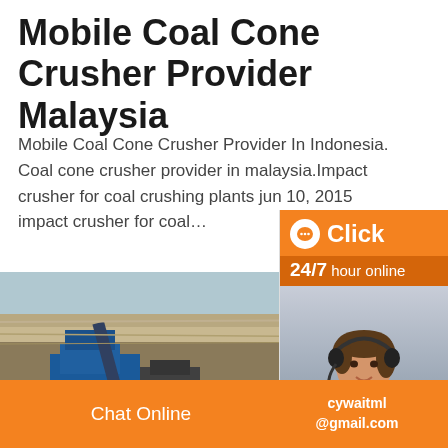Mobile Coal Cone Crusher Provider Malaysia
Mobile Coal Cone Crusher Provider In Indonesia. Coal cone crusher provider in malaysia.Impact crusher for coal crushing plants jun 10, 2015 impact crusher for coal…
[Figure (photo): Photo of a mobile coal cone crusher machine at a quarry/mining site, with rocky terrain in the background and blue machinery visible.]
[Figure (infographic): Live chat widget overlay showing an orange 'Click' button with chat bubble icon, '24/7 hour online' text, a photo of a female customer service agent wearing a headset, a teal chat bubble, 'Click to chat' orange button, and 'Enquiry' text section.]
Chat Online | cywaitml @gmail.com